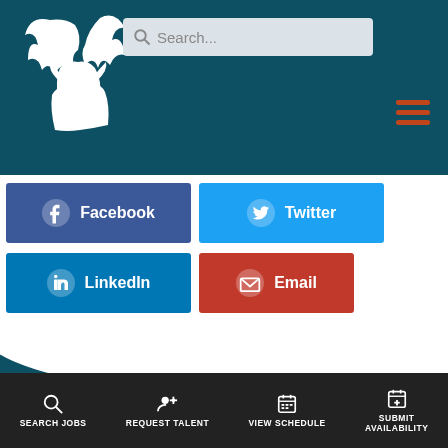[Figure (screenshot): Mobile website header with teal background, deer/stag logo on left, search bar top right, hamburger menu icon in orange on right]
[Figure (infographic): Social share buttons: Facebook (dark blue), Twitter (light blue), LinkedIn (medium blue), Email (red)]
CATEGORIES
[Figure (infographic): Orange pill/rounded button at bottom of teal wave section]
[Figure (infographic): Bottom navigation bar with Search Jobs, Request Talent, View Schedule, Submit Availability icons and labels]